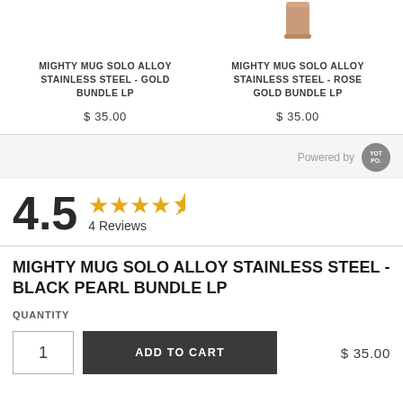[Figure (photo): Partial view of rose gold colored Mighty Mug Solo Alloy Stainless Steel product at top]
MIGHTY MUG SOLO ALLOY STAINLESS STEEL - GOLD BUNDLE LP
$ 35.00
MIGHTY MUG SOLO ALLOY STAINLESS STEEL - ROSE GOLD BUNDLE LP
$ 35.00
Powered by [Yotpo badge]
4.5 ★★★★½ 4 Reviews
MIGHTY MUG SOLO ALLOY STAINLESS STEEL - BLACK PEARL BUNDLE LP
QUANTITY
ADD TO CART
$ 35.00